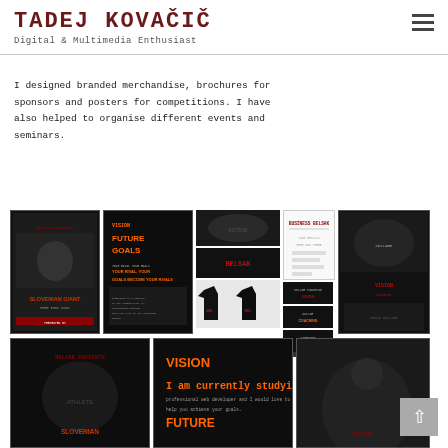TADEJ KOVAČIČ
Digital & Multimedia Enthusiast
I designed branded merchandise, brochures for sponsors and posters for competitions. I have also helped to organise different events and seminars.
[Figure (photo): Gallery of branded merchandise and event materials for Belsak/Slovenian Giant: competition posters, VISION FUTURE GOALS motivational poster, action photos, brochure, t-shirts, and online coaching graphics]
[Figure (photo): Second row of gallery images partially visible: Belsak Presents poster, VISION FUTURE poster, and athlete action photo]